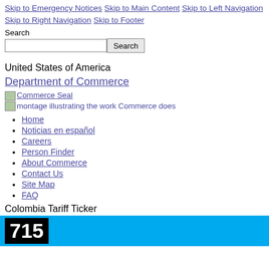Skip to Emergency Notices  Skip to Main Content  Skip to Left Navigation  Skip to Right Navigation  Skip to Footer
Search
United States of America
Department of Commerce
[Figure (photo): Commerce Seal image placeholder]
[Figure (photo): montage illustrating the work Commerce does]
Home
Noticias en español
Careers
Person Finder
About Commerce
Contact Us
Site Map
FAQ
Colombia Tariff Ticker
715